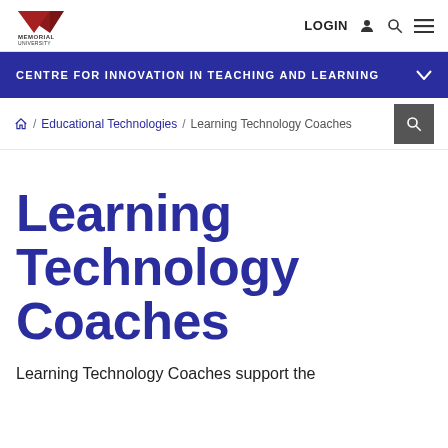[Figure (logo): Memorial University logo with red triangular graphic and text MEMORIAL UNIVERSITY]
LOGIN [person icon] [search icon] [menu icon]
CENTRE FOR INNOVATION IN TEACHING AND LEARNING
🏠 / Educational Technologies / Learning Technology Coaches
Learning Technology Coaches
Learning Technology Coaches support the